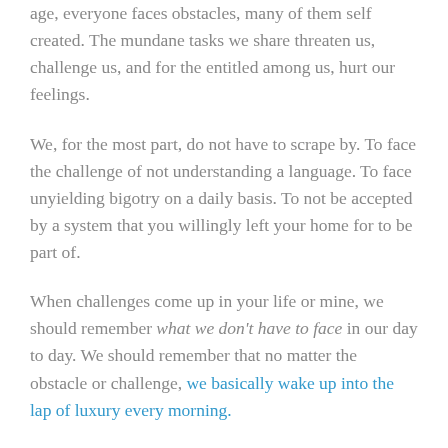age, everyone faces obstacles, many of them self created. The mundane tasks we share threaten us, challenge us, and for the entitled among us, hurt our feelings.
We, for the most part, do not have to scrape by. To face the challenge of not understanding a language. To face unyielding bigotry on a daily basis. To not be accepted by a system that you willingly left your home for to be part of.
When challenges come up in your life or mine, we should remember what we don't have to face in our day to day. We should remember that no matter the obstacle or challenge, we basically wake up into the lap of luxury every morning.